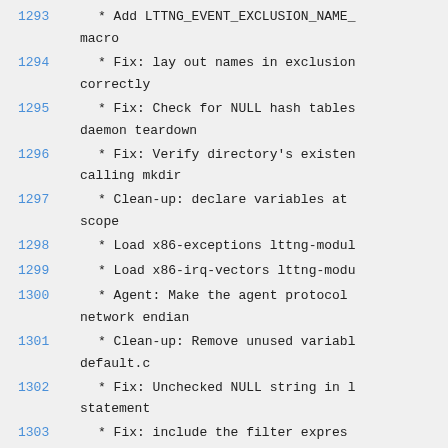1293   * Add LTTNG_EVENT_EXCLUSION_NAME_ macro
1294   * Fix: lay out names in exclusion correctly
1295   * Fix: Check for NULL hash tables daemon teardown
1296   * Fix: Verify directory's existence calling mkdir
1297   * Clean-up: declare variables at scope
1298   * Load x86-exceptions lttng-modul
1299   * Load x86-irq-vectors lttng-modu
1300   * Agent: Make the agent protocol network endian
1301   * Clean-up: Remove unused variabl default.c
1302   * Fix: Unchecked NULL string in l statement
1303   * Fix: include the filter expres